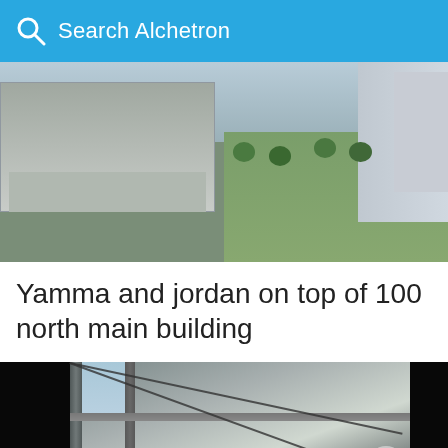Search Alchetron
[Figure (photo): Aerial view of city buildings and a green plaza/park area, looking down from a skyscraper]
Yamma and jordan on top of 100 north main building
[Figure (photo): Photo taken from the top of a tall building looking up at metal structural elements of the building, with a person visible; black areas on left and right sides. Covid-19 badge in bottom right corner.]